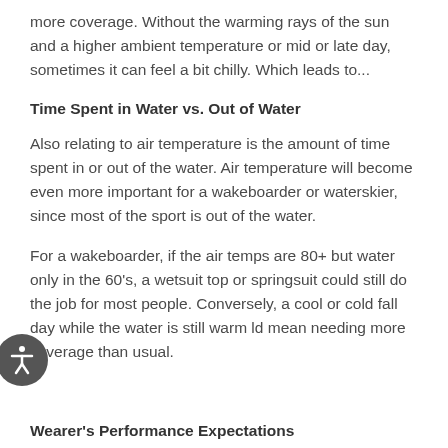more coverage. Without the warming rays of the sun and a higher ambient temperature or mid or late day, sometimes it can feel a bit chilly. Which leads to...
Time Spent in Water vs. Out of Water
Also relating to air temperature is the amount of time spent in or out of the water. Air temperature will become even more important for a wakeboarder or waterskier, since most of the sport is out of the water.
For a wakeboarder, if the air temps are 80+ but water only in the 60's, a wetsuit top or springsuit could still do the job for most people. Conversely, a cool or cold fall day while the water is still warm ld mean needing more coverage than usual.
Wearer's Performance Expectations